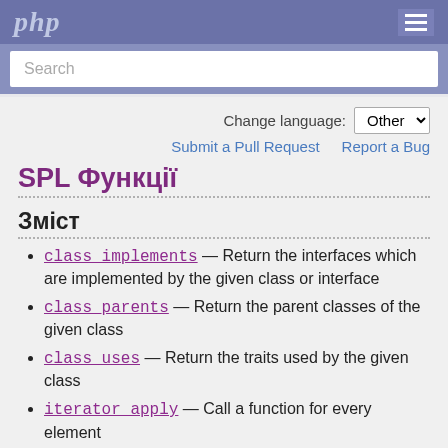php
Search
Change language: Other
Submit a Pull Request   Report a Bug
SPL Функції
Зміст
class_implements — Return the interfaces which are implemented by the given class or interface
class_parents — Return the parent classes of the given class
class_uses — Return the traits used by the given class
iterator_apply — Call a function for every element